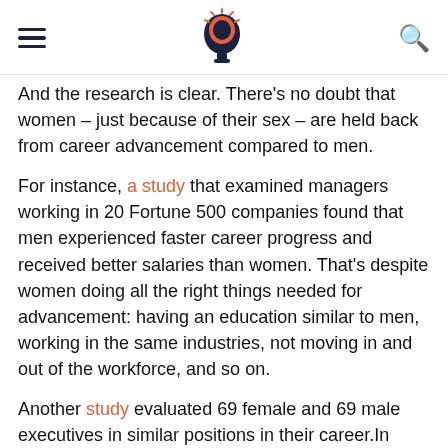[hamburger menu] [brain/lightbulb logo] [search icon]
And the research is clear. There's no doubt that women – just because of their sex – are held back from career advancement compared to men.
For instance, a study that examined managers working in 20 Fortune 500 companies found that men experienced faster career progress and received better salaries than women. That's despite women doing all the right things needed for advancement: having an education similar to men, working in the same industries, not moving in and out of the workforce, and so on.
Another study evaluated 69 female and 69 male executives in similar positions in their career.In comparison to men, women reported having to work harder to overcome a variety of barriers, such as being excluded from informal networks and